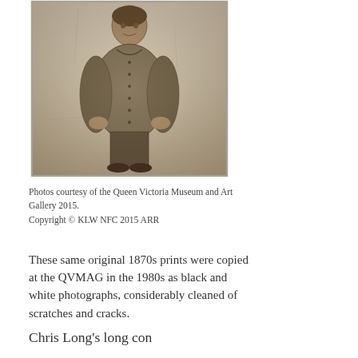[Figure (photo): Sepia-toned historical photograph of a stout man wearing a buttoned wool jacket, standing with hands in pockets. The photograph has a light border and appears to be from the 1870s.]
Photos courtesy of the Queen Victoria Museum and Art Gallery 2015.
Copyright © KLW NFC 2015 ARR
These same original 1870s prints were copied at the QVMAG in the 1980s as black and white photographs, considerably cleaned of scratches and cracks.
Chris Long's long con